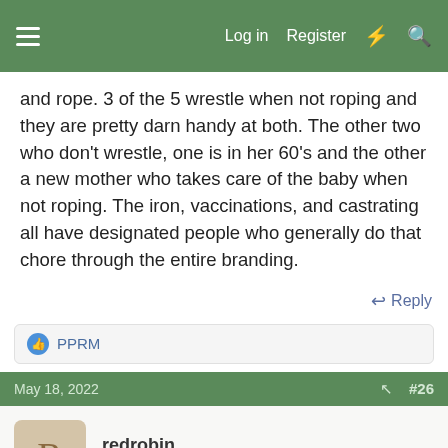Log in  Register
and rope. 3 of the 5 wrestle when not roping and they are pretty darn handy at both. The other two who don't wrestle, one is in her 60's and the other a new mother who takes care of the baby when not roping. The iron, vaccinations, and castrating all have designated people who generally do that chore through the entire branding.
Reply
PPRM
May 18, 2022  #26
redrobin
Well-known member
Nice table Jody